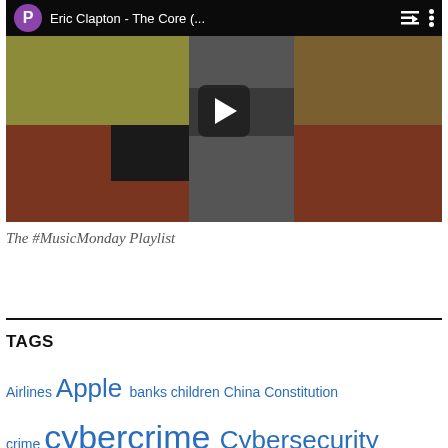[Figure (screenshot): YouTube video thumbnail showing Eric Clapton - The Core (...) with a purple avatar P, play button overlay, and a collage of musician photos]
The #MusicMonday Playlist
TAGS
Airlines Apple banks children China Constitution crime cybercrime Cybersecurity economics economy election encryption